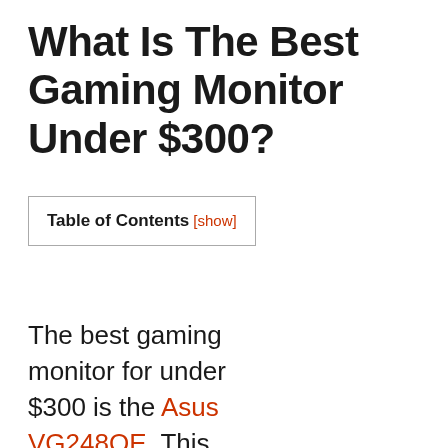What Is The Best Gaming Monitor Under $300?
Table of Contents [show]
The best gaming monitor for under $300 is the Asus VG248QE. This 24″ gaming monitor features